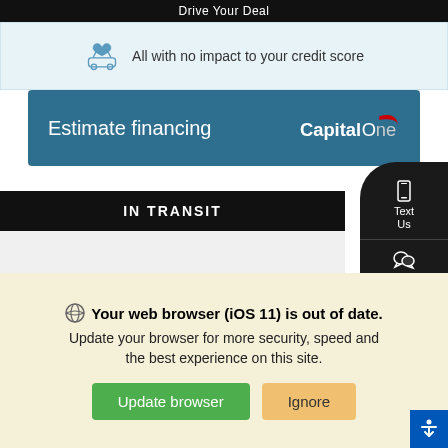Drive Your Deal
All with no impact to your credit score
[Figure (other): Estimate financing banner with Capital One logo on teal/dark blue background]
IN TRANSIT
[Figure (photo): Car image area showing partial vehicle silhouette]
[Figure (infographic): Floating dark panel with phone, chat, call icons and Text Us / Trade-in labels]
Your web browser (iOS 11) is out of date. Update your browser for more security, speed and the best experience on this site.
Update browser
Ignore